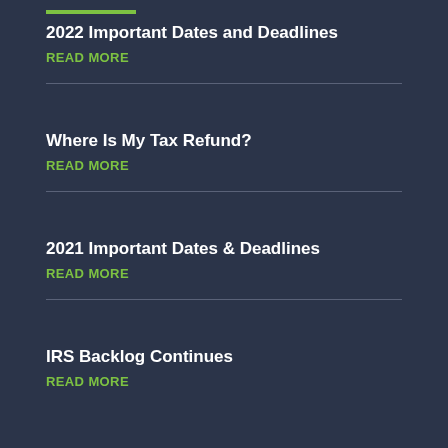2022 Important Dates and Deadlines
READ MORE
Where Is My Tax Refund?
READ MORE
2021 Important Dates & Deadlines
READ MORE
IRS Backlog Continues
READ MORE